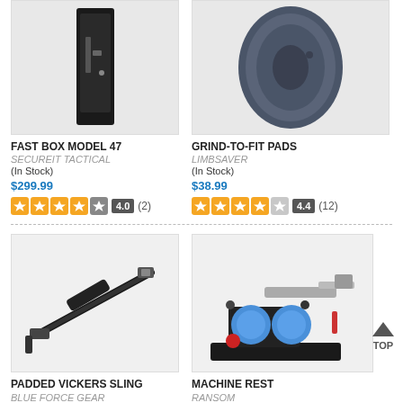[Figure (photo): Product photo of Fast Box Model 47 gun safe, dark color, vertical orientation]
FAST BOX MODEL 47
SECUREIT TACTICAL
(In Stock)
$299.99
4.0 (2)
[Figure (photo): Product photo of Grind-To-Fit Pads, dark blue/grey disc-shaped pads]
GRIND-TO-FIT PADS
LIMBSAVER
(In Stock)
$38.99
4.4 (12)
[Figure (photo): Product photo of Padded Vickers Sling, black rifle sling]
PADDED VICKERS SLING
BLUE FORCE GEAR
(In Stock)
$64.95
[Figure (photo): Product photo of Machine Rest by Ransom, pistol shooting rest device with gun mounted]
MACHINE REST
RANSOM
(In Stock)
$85.99 - $563.49